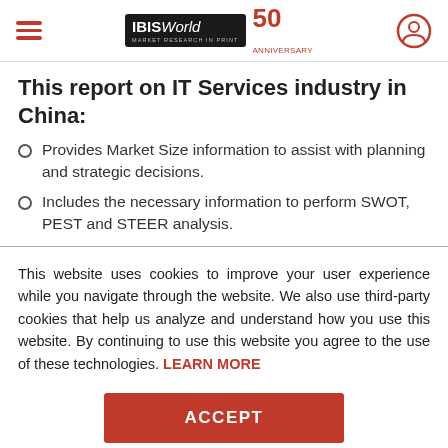IBISWorld 50th Anniversary
This report on IT Services industry in China:
Provides Market Size information to assist with planning and strategic decisions.
Includes the necessary information to perform SWOT, PEST and STEER analysis.
This website uses cookies to improve your user experience while you navigate through the website. We also use third-party cookies that help us analyze and understand how you use this website. By continuing to use this website you agree to the use of these technologies. LEARN MORE
ACCEPT